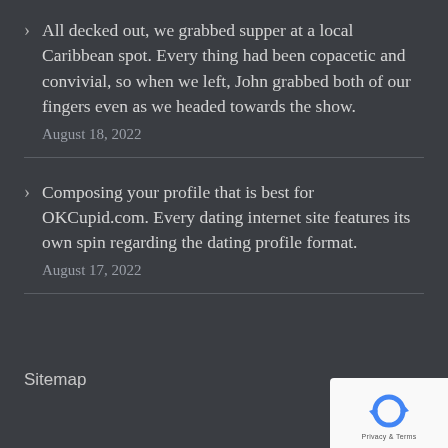All decked out, we grabbed supper at a local Caribbean spot. Every thing had been copacetic and convivial, so when we left, John grabbed both of our fingers even as we headed towards the show.
August 18, 2022
Composing your profile that is best for OKCupid.com. Every dating internet site features its own spin regarding the dating profile format.
August 17, 2022
Sitemap
[Figure (logo): reCAPTCHA badge with blue recycling arrow logo and Privacy & Terms text]